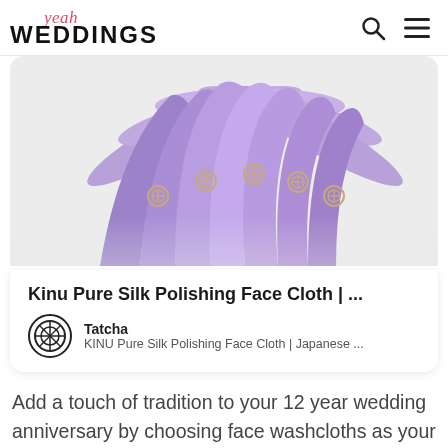yeah WEDDINGS
[Figure (photo): Purple/lavender folded silk face cloths fanned out on a white background, showing multiple folded pieces with small circular emblem details]
Kinu Pure Silk Polishing Face Cloth | ...
Tatcha
KINU Pure Silk Polishing Face Cloth | Japanese ...
Add a touch of tradition to your 12 year wedding anniversary by choosing face washcloths as your